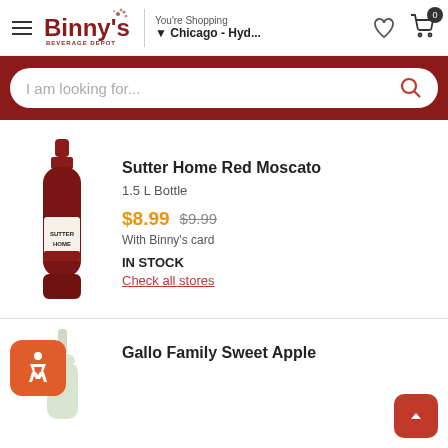Binny's Beverage Depot — You're Shopping Chicago - Hyd...
I am looking for...
[Figure (photo): Sutter Home Red Moscato 1.5L wine bottle, dark red glass with white label]
Sutter Home Red Moscato
1.5 L Bottle
$8.99  $9.99  With Binny's card
IN STOCK
Check all stores
[Figure (photo): Gallo Family Sweet Apple wine bottle, light green/clear glass]
Gallo Family Sweet Apple